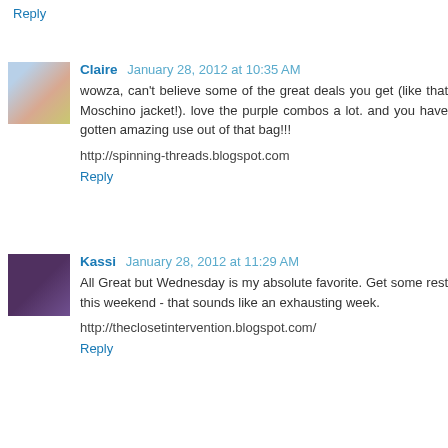Reply
Claire  January 28, 2012 at 10:35 AM
wowza, can't believe some of the great deals you get (like that Moschino jacket!). love the purple combos a lot. and you have gotten amazing use out of that bag!!!
http://spinning-threads.blogspot.com
Reply
Kassi  January 28, 2012 at 11:29 AM
All Great but Wednesday is my absolute favorite. Get some rest this weekend - that sounds like an exhausting week.
http://theclosetintervention.blogspot.com/
Reply